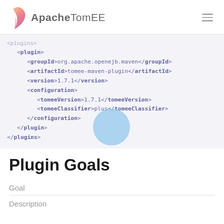Apache TomEE
<plugin>
    <groupId>org.apache.openejb.maven</groupId>
    <artifactId>tomee-maven-plugin</artifactId>
    <version>1.7.1</version>
    <configuration>
        <tomeeVersion>1.7.1</tomeeVersion>
        <tomeeClassifier>plus</tomeeClassifier>
    </configuration>
</plugin>
</plugins>
Plugin Goals
Goal
Description